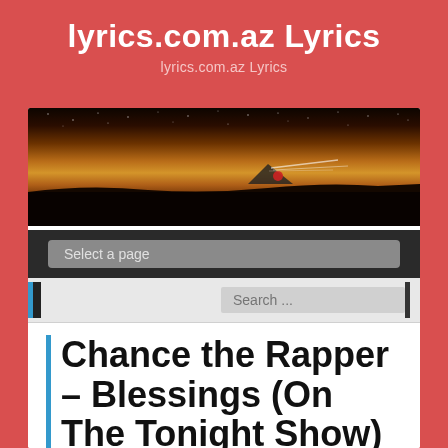lyrics.com.az Lyrics
lyrics.com.az Lyrics
[Figure (photo): Nighttime landscape photo showing a starry sky with an orange/amber horizon glow, dark silhouetted ground, and what appears to be a tent or structure with lights in the middle distance.]
Select a page
Search ...
Chance the Rapper – Blessings (On The Tonight Show) (Live) letras